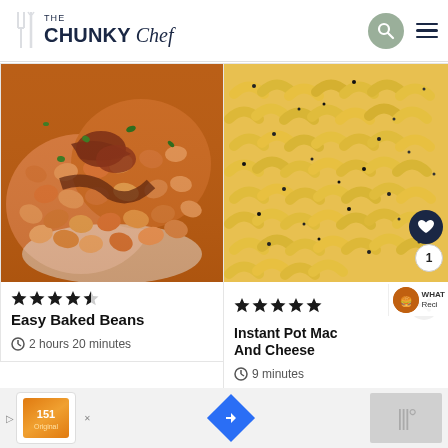THE CHUNKY Chef
[Figure (photo): Close-up photo of Easy Baked Beans with bacon in a white bowl]
[Figure (photo): Close-up photo of Instant Pot Mac And Cheese macaroni pasta]
★★★★½  Easy Baked Beans  ⊙ 2 hours 20 minutes
★★★★★  Instant Pot Mac And Cheese  ⊙ 9 minutes
[Figure (screenshot): Advertisement bar at bottom with logos]